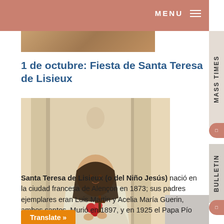MENU
[Figure (photo): Partially cropped image at the top of the page]
1 de octubre: Fiesta de Santa Teresa de Lisieux
[Figure (photo): Statue of Santa Teresa de Lisieux holding roses and a crucifix, wearing brown robe and white mantle]
Santa Teresa de Lisieux (o del Niño Jesús) nació en la ciudad francesa de Alençon en 1873; sus padres ejemplares eran Luis Martin y Acelia María Guerin, ambos santos. Murió en 1897, y en 1925 el Papa Pío XI